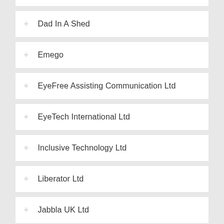Dad In A Shed
Emego
EyeFree Assisting Communication Ltd
EyeTech International Ltd
Inclusive Technology Ltd
Liberator Ltd
Jabbla UK Ltd
Mounts & More Ltd